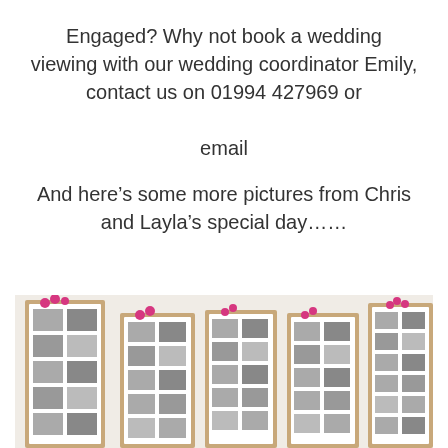Engaged? Why not book a wedding viewing with our wedding coordinator Emily, contact us on 01994 427969 or email
And here's some more pictures from Chris and Layla's special day……
[Figure (photo): Wedding photo display boards with multiple framed photo collages decorated with pink flowers, showing wedding guests photos]